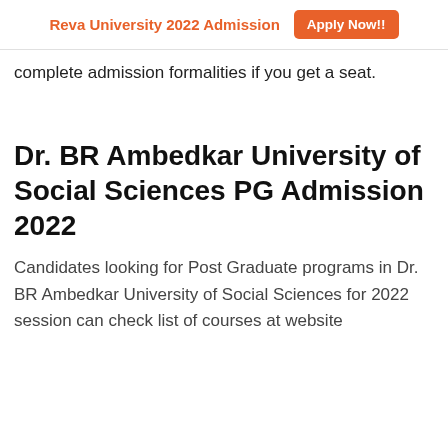Reva University 2022 Admission  Apply Now!!
complete admission formalities if you get a seat.
Dr. BR Ambedkar University of Social Sciences PG Admission 2022
Candidates looking for Post Graduate programs in Dr. BR Ambedkar University of Social Sciences for 2022 session can check list of courses at website